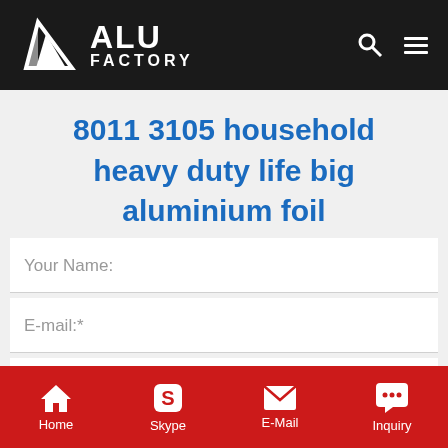[Figure (logo): ALU FACTORY logo with triangular icon on black header bar with search and menu icons]
8011 3105 household heavy duty life big aluminium foil
Your Name:
E-mail:*
Content*
Home  Skype  E-Mail  Inquiry